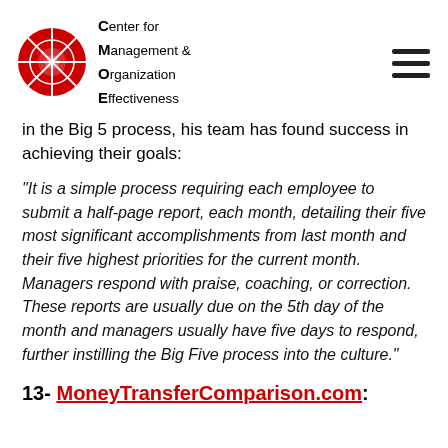Center for Management & Organization Effectiveness
in the Big 5 process, his team has found success in achieving their goals:
“It is a simple process requiring each employee to submit a half-page report, each month, detailing their five most significant accomplishments from last month and their five highest priorities for the current month. Managers respond with praise, coaching, or correction. These reports are usually due on the 5th day of the month and managers usually have five days to respond, further instilling the Big Five process into the culture.”
13- MoneyTransferComparison.com: